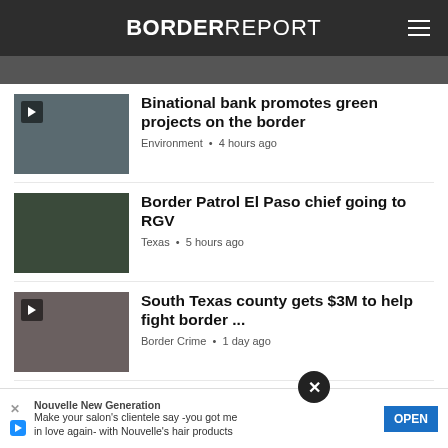BORDER REPORT
[Figure (photo): Thumbnail image for binational bank story]
Binational bank promotes green projects on the border
Environment • 4 hours ago
[Figure (photo): Border Patrol chief photo thumbnail]
Border Patrol El Paso chief going to RGV
Texas • 5 hours ago
[Figure (photo): South Texas county thumbnail]
South Texas county gets $3M to help fight border ...
Border Crime • 1 day ago
[Figure (photo): Migrant stash houses thumbnail]
Texas offering $5,000 for info on migrant stash houses
Border Crime • 1 day ago
[Figure (photo): Binational rail crossing thumbnail]
Binational rail crossing planned for
Nouvelle New Generation
Make your salon's clientele say -you got me in love again- with Nouvelle's hair products